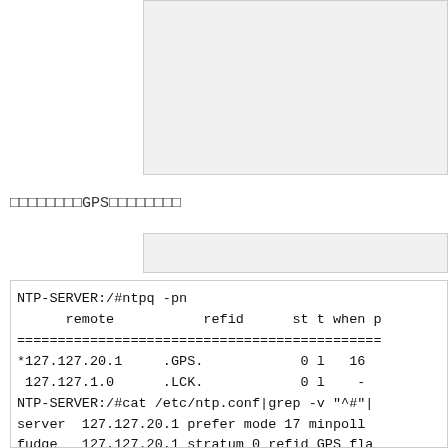[Figure (screenshot): Gray content block at top of page (partial, cropped)]
□□□□□□□□GPS□□□□□□□□
[Figure (screenshot): Second gray content block]
NTP-SERVER:/#ntpq -pn
      remote           refid      st t when p
=============================================
*127.127.20.1     .GPS.            0 l   16
 127.127.1.0      .LCK.            0 l    -
NTP-SERVER:/#cat /etc/ntp.conf|grep -v "^#"|
server  127.127.20.1 prefer mode 17 minpoll
fudge   127.127.20.1 stratum 0 refid GPS fla
server  127.127.1.0 minpoll 4   maxpoll 4
fudge   127.127.1.0 stratum 0 refid LCK
driftfile /var/drift
broadcastdelay  0.008